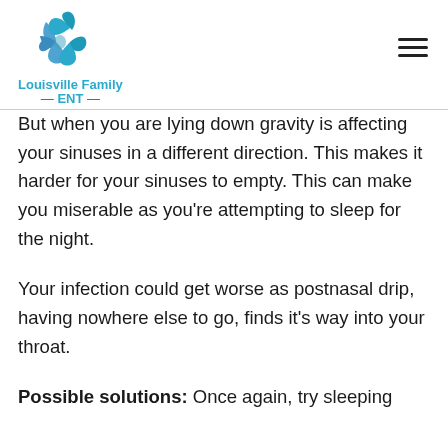Louisville Family ENT
But when you are lying down gravity is affecting your sinuses in a different direction. This makes it harder for your sinuses to empty. This can make you miserable as you’re attempting to sleep for the night.
Your infection could get worse as postnasal drip, having nowhere else to go, finds it’s way into your throat.
Possible solutions: Once again, try sleeping